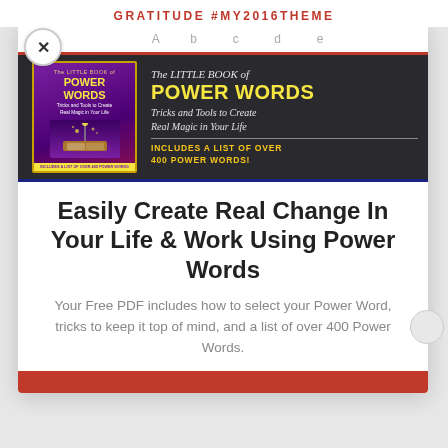GRATITUDE #MY2016THEME
A ... a ... a ... b ...
[Figure (illustration): Book banner for 'The Little Book of Power Words: Tricks and Tools to Create Real Magic In Your Life' on a dark background, showing the book cover on the left and text on the right including 'INCLUDES A LIST OF OVER 400 POWER WORDS!']
Easily Create Real Change In Your Life & Work Using Power Words
Your Free PDF includes how to select your Power Word, tricks to keep it top of mind, and a list of over 400 Power Words.